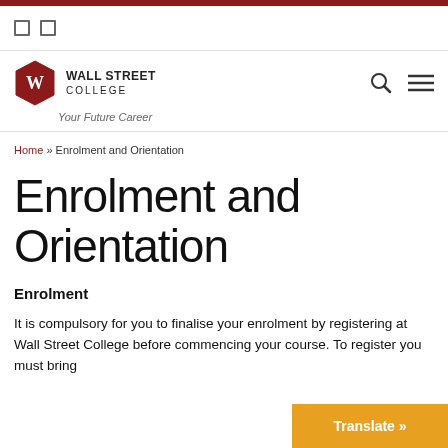Wall Street College — Your Future Career
Home » Enrolment and Orientation
Enrolment and Orientation
Enrolment
It is compulsory for you to finalise your enrolment by registering at Wall Street College before commencing your course. To register you must bring